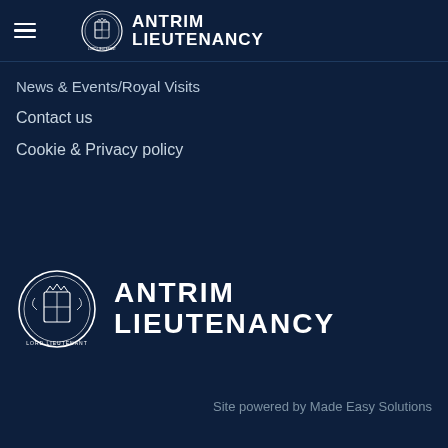ANTRIM LIEUTENANCY
News & Events/Royal Visits
Contact us
Cookie & Privacy policy
[Figure (logo): Antrim Lieutenancy crest and text logo in footer]
Site powered by Made Easy Solutions